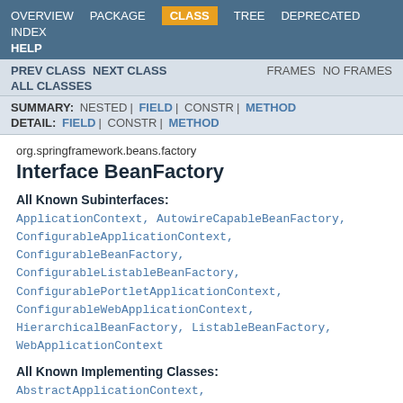OVERVIEW   PACKAGE   CLASS   TREE   DEPRECATED   INDEX
HELP
PREV CLASS   NEXT CLASS   FRAMES   NO FRAMES
ALL CLASSES
SUMMARY: NESTED | FIELD | CONSTR | METHOD
DETAIL: FIELD | CONSTR | METHOD
org.springframework.beans.factory
Interface BeanFactory
All Known Subinterfaces:
ApplicationContext, AutowireCapableBeanFactory, ConfigurableApplicationContext, ConfigurableBeanFactory, ConfigurableListableBeanFactory, ConfigurablePortletApplicationContext, ConfigurableWebApplicationContext, HierarchicalBeanFactory, ListableBeanFactory, WebApplicationContext
All Known Implementing Classes:
AbstractApplicationContext,